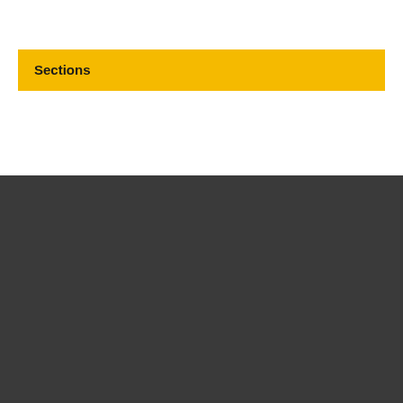Sections
[Figure (logo): Social media icons: Facebook, Instagram, Twitter, YouTube in white on dark background]
© Copyright The London Borough of Havering
About Us   Contact   Cookies   Privacy notice
Feedback   Sign up to newsletters
[Figure (logo): Havering London Borough logo — crest icon and wordmark 'Havering LONDON BOROUGH' in white]